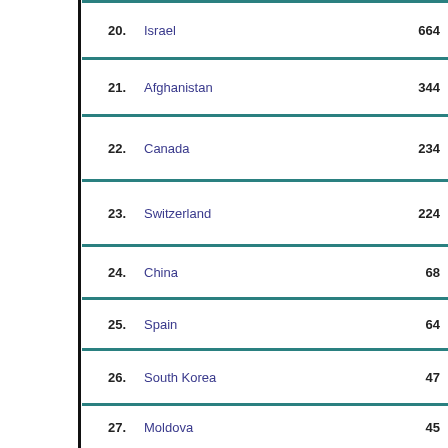20. Israel 664
21. Afghanistan 344
22. Canada 234
23. Switzerland 224
24. China 68
25. Spain 64
26. South Korea 47
27. Moldova 45